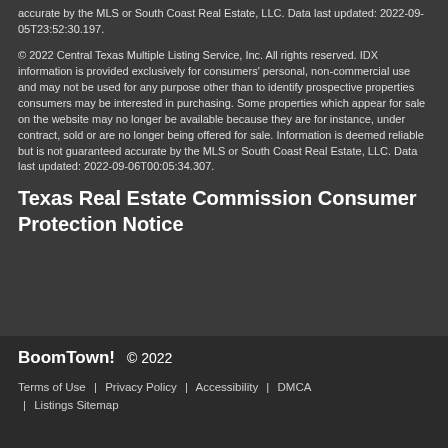accurate by the MLS or South Coast Real Estate, LLC. Data last updated: 2022-09-05T23:52:30.197.
© 2022 Central Texas Multiple Listing Service, Inc. All rights reserved. IDX information is provided exclusively for consumers' personal, non-commercial use and may not be used for any purpose other than to identify prospective properties consumers may be interested in purchasing. Some properties which appear for sale on the website may no longer be available because they are for instance, under contract, sold or are no longer being offered for sale. Information is deemed reliable but is not guaranteed accurate by the MLS or South Coast Real Estate, LLC. Data last updated: 2022-09-06T00:05:34.307.
Texas Real Estate Commission Consumer Protection Notice
BoomTown! © 2022  Terms of Use | Privacy Policy | Accessibility | DMCA | Listings Sitemap